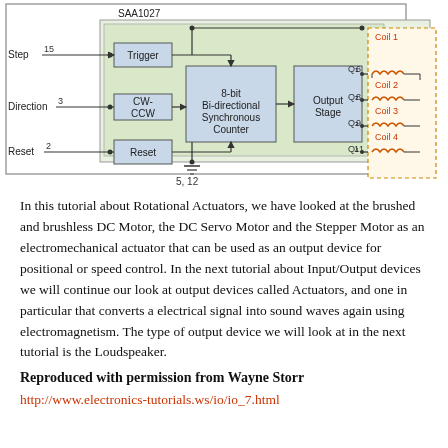[Figure (schematic): Block diagram of SAA1027 stepper motor driver IC showing Step (pin 15), Direction (pin 3), Reset (pin 2) inputs feeding Trigger, CW-CCW, and Reset blocks respectively, connected to an 8-bit Bi-directional Synchronous Counter, then to an Output Stage with outputs Q1(6), Q2(8), Q3(9), Q4(11) driving Coil 1, Coil 2, Coil 3, Coil 4. Ground pins 5, 12 shown at bottom.]
In this tutorial about Rotational Actuators, we have looked at the brushed and brushless DC Motor, the DC Servo Motor and the Stepper Motor as an electromechanical actuator that can be used as an output device for positional or speed control. In the next tutorial about Input/Output devices we will continue our look at output devices called Actuators, and one in particular that converts a electrical signal into sound waves again using electromagnetism. The type of output device we will look at in the next tutorial is the Loudspeaker.
Reproduced with permission from Wayne Storr
http://www.electronics-tutorials.ws/io/io_7.html